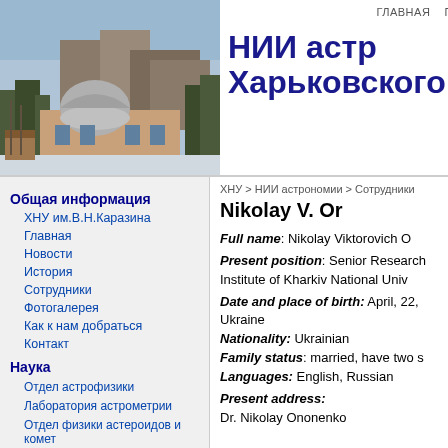[Figure (photo): Photograph of an astronomical observatory building with a dome, surrounded by trees, winter scene]
НИИ астр... Харьковского на...
ГЛАВНАЯ   ПОИСК
Общая информация
ХНУ им.В.Н.Каразина
Главная
Новости
История
Сотрудники
Фотогалерея
Как к нам добраться
Контакт
Наука
Отдел астрофизики
Лаборатория астрометрии
Отдел физики астероидов и комет
Отдел дистанционного зондирования планет
ХНУ > НИИ астрономии > Сотрудники
Nikolay V. Or...
Full name: Nikolay Viktorovich O...
Present position: Senior Research... Institute of Kharkiv National Univ...
Date and place of birth: April, 22,... Ukraine
Nationality: Ukrainian
Family status: married, have two s...
Languages: English, Russian
Present address:
Dr. Nikolay Ononenko...